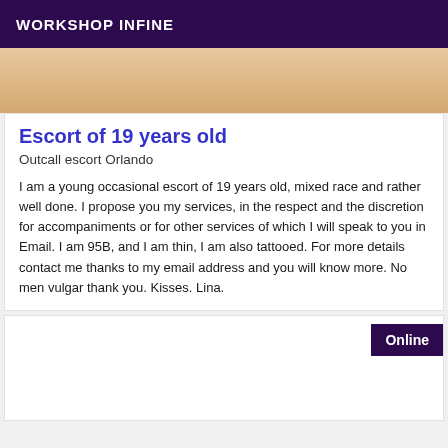WORKSHOP INFINE
[Figure (photo): Partial view of a person's torso/back, skin tones in beige/tan colors]
Escort of 19 years old
Outcall escort Orlando
I am a young occasional escort of 19 years old, mixed race and rather well done. I propose you my services, in the respect and the discretion for accompaniments or for other services of which I will speak to you in Email. I am 95B, and I am thin, I am also tattooed. For more details contact me thanks to my email address and you will know more. No men vulgar thank you. Kisses. Lina.
Online